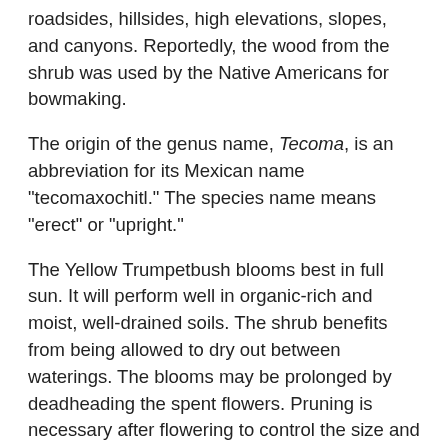roadsides, hillsides, high elevations, slopes, and canyons. Reportedly, the wood from the shrub was used by the Native Americans for bowmaking.
The origin of the genus name, Tecoma, is an abbreviation for its Mexican name "tecomaxochitl." The species name means "erect" or "upright."
The Yellow Trumpetbush blooms best in full sun. It will perform well in organic-rich and moist, well-drained soils. The shrub benefits from being allowed to dry out between waterings. The blooms may be prolonged by deadheading the spent flowers. Pruning is necessary after flowering to control the size and shape of the shrub. The plant may be propagated by seeds or soft cuttings. It is best to collect the seeds in late summer or fall when the fruit pods are no longer green. Seedlings may be easily transplanted, and they will typically bloom within 2 years. The Yellow Trumpetbush is heat and drought tolerant and is moderately resistant to deer.